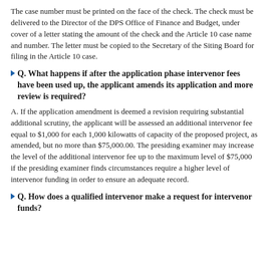The case number must be printed on the face of the check. The check must be delivered to the Director of the DPS Office of Finance and Budget, under cover of a letter stating the amount of the check and the Article 10 case name and number. The letter must be copied to the Secretary of the Siting Board for filing in the Article 10 case.
Q. What happens if after the application phase intervenor fees have been used up, the applicant amends its application and more review is required?
A. If the application amendment is deemed a revision requiring substantial additional scrutiny, the applicant will be assessed an additional intervenor fee equal to $1,000 for each 1,000 kilowatts of capacity of the proposed project, as amended, but no more than $75,000.00. The presiding examiner may increase the level of the additional intervenor fee up to the maximum level of $75,000 if the presiding examiner finds circumstances require a higher level of intervenor funding in order to ensure an adequate record.
Q. How does a qualified intervenor make a request for intervenor funds?